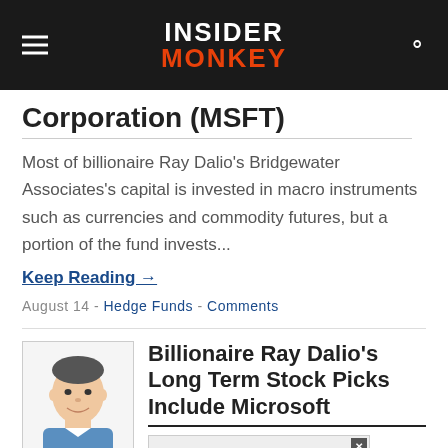INSIDER MONKEY
Corporation (MSFT)
Most of billionaire Ray Dalio’s Bridgewater Associates’s capital is invested in macro instruments such as currencies and commodity futures, but a portion of the fund invests...
Keep Reading →
August 14 - Hedge Funds - Comments
[Figure (illustration): Illustrated portrait of a man in a blue shirt]
Billionaire Ray Dalio’s Long Term Stock Picks Include Microsoft
...rom hundreds of hedge funds, including billionaire